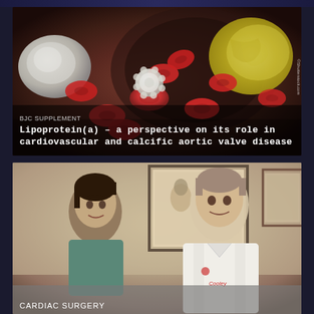[Figure (illustration): Medical illustration of blood vessel cross-section with red blood cells, white blood cell, and cholesterol plaque deposit visible]
BJC SUPPLEMENT
Lipoprotein(a) – a perspective on its role in cardiovascular and calcific aortic valve disease
[Figure (photo): Black and white photograph of two men posing together, one younger in casual attire and one older in a white medical coat]
CARDIAC SURGERY